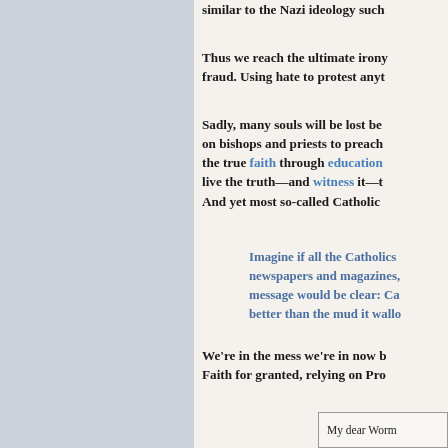similar to the Nazi ideology such
Thus we reach the ultimate irony fraud. Using hate to protest anyt
Sadly, many souls will be lost be on bishops and priests to preach the true faith through education live the truth—and witness it—t And yet most so-called Catholic
Imagine if all the Catholics newspapers and magazines, message would be clear: Ca better than the mud it wallo
We're in the mess we're in now b Faith for granted, relying on Pro
My dear Worm